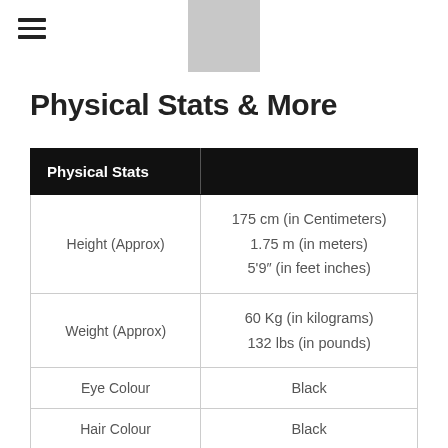[Figure (other): Gray rectangle placeholder/logo image at top center]
Physical Stats & More
| Physical Stats |  |
| --- | --- |
| Height (Approx) | 175 cm (in Centimeters)
1.75 m (in meters)
5'9" (in feet inches) |
| Weight (Approx) | 60 Kg (in kilograms)
132 lbs (in pounds) |
| Eye Colour | Black |
| Hair Colour | Black |